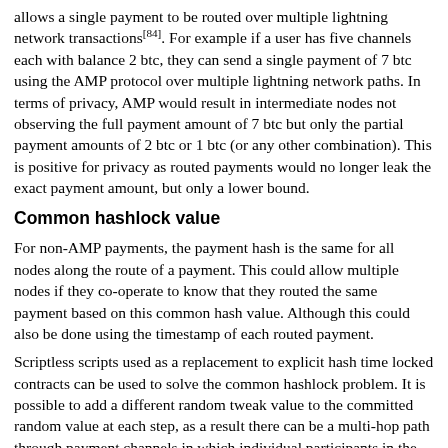allows a single payment to be routed over multiple lightning network transactions[84]. For example if a user has five channels each with balance 2 btc, they can send a single payment of 7 btc using the AMP protocol over multiple lightning network paths. In terms of privacy, AMP would result in intermediate nodes not observing the full payment amount of 7 btc but only the partial payment amounts of 2 btc or 1 btc (or any other combination). This is positive for privacy as routed payments would no longer leak the exact payment amount, but only a lower bound.
Common hashlock value
For non-AMP payments, the payment hash is the same for all nodes along the route of a payment. This could allow multiple nodes if they co-operate to know that they routed the same payment based on this common hash value. Although this could also be done using the timestamp of each routed payment.
Scriptless scripts used as a replacement to explicit hash time locked contracts can be used to solve the common hashlock problem. It is possible to add a different random tweak value to the committed random value at each step, as a result there can be a multi-hop path through payment channels in which individual participants in the path wouldn't be able to tell that they're in the same path unless they're